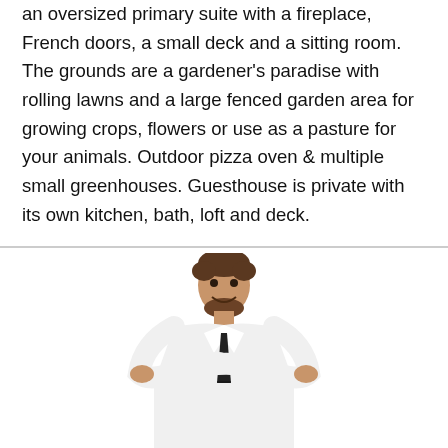an oversized primary suite with a fireplace, French doors, a small deck and a sitting room. The grounds are a gardener's paradise with rolling lawns and a large fenced garden area for growing crops, flowers or use as a pasture for your animals. Outdoor pizza oven & multiple small greenhouses. Guesthouse is private with its own kitchen, bath, loft and deck.
[Figure (photo): A man with a beard wearing a white dress shirt and dark tie, standing with arms crossed and smiling, shown from roughly the waist up against a white background.]